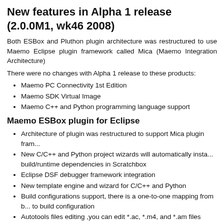New features in Alpha 1 release (2.0.0M1, wk46 2008)
Both ESBox and Pluthon plugin architecture was restructured to use Maemo Eclipse plugin framework called Mica (Maemo Integration Architecture)
There were no changes with Alpha 1 release to these products:
Maemo PC Connectivity 1st Edition
Maemo SDK Virtual Image
Maemo C++ and Python programming language support
Maemo ESBox plugin for Eclipse
Architecture of plugin was restructured to support Mica plugin fram...
New C/C++ and Python project wizards will automatically insta... build/runtime dependencies in Scratchbox
Eclipse DSF debugger framework integration
New template engine and wizard for C/C++ and Python
Build configurations support, there is a one-to-one mapping from b... to build configuration
Autotools files editing ,you can edit *.ac, *.m4, and *.am files with...